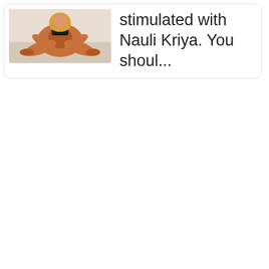[Figure (photo): Thumbnail photo of a woman in athletic wear sitting on a floor in a yoga/stretching pose, viewed from above. The background appears to be a light-colored floor.]
stimulated with Nauli Kriya. You shoul...